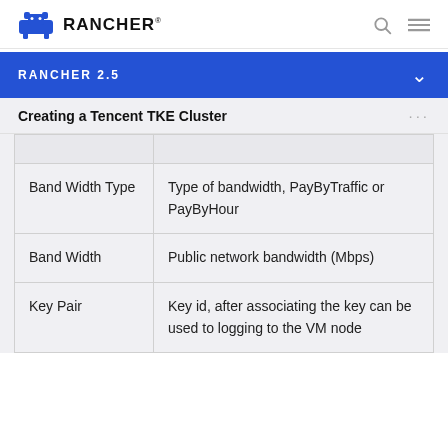RANCHER
RANCHER 2.5
Creating a Tencent TKE Cluster
|  |  |
| --- | --- |
| Band Width Type | Type of bandwidth, PayByTraffic or PayByHour |
| Band Width | Public network bandwidth (Mbps) |
| Key Pair | Key id, after associating the key can be used to logging to the VM node |